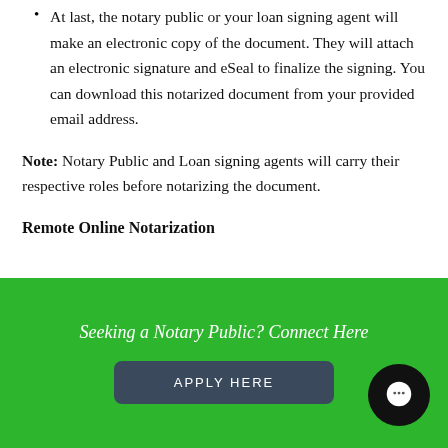At last, the notary public or your loan signing agent will make an electronic copy of the document. They will attach an electronic signature and eSeal to finalize the signing. You can download this notarized document from your provided email address.
Note: Notary Public and Loan signing agents will carry their respective roles before notarizing the document.
Remote Online Notarization
Seeking a Notary Public? Connect Here
APPLY HERE